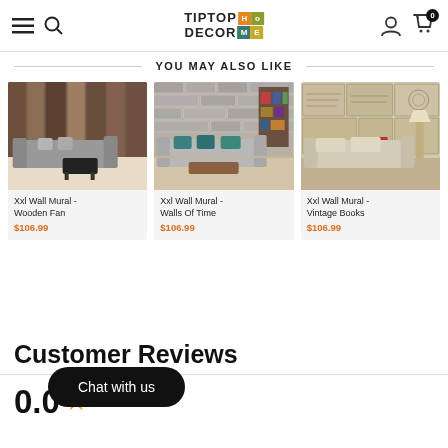TIPTOP HOME DECOR ME — navigation header with logo, hamburger menu, search, user icon, and cart (0)
YOU MAY ALSO LIKE
[Figure (photo): Product card: Xxl Wall Mural - Wooden Fan, $106.99. Photo shows a modern living room with wood-panel wall mural and grey sectional sofa.]
[Figure (photo): Product card: Xxl Wall Mural - Walls Of Time, $106.99. Photo shows a living room with stone brick wall mural and grey sofa with teal pillows.]
[Figure (photo): Product card: Xxl Wall Mural - Vintage Books, $106.99. Photo shows a living room with vintage book/map wall mural and cream sofa.]
Customer Reviews
0.0 ★
Chat with us